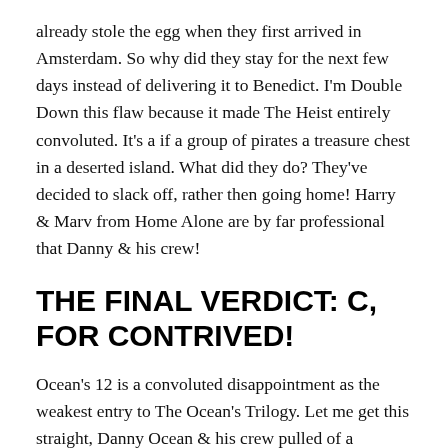already stole the egg when they first arrived in Amsterdam. So why did they stay for the next few days instead of delivering it to Benedict. I'm Double Down this flaw because it made The Heist entirely convoluted. It's a if a group of pirates a treasure chest in a deserted island. What did they do? They've decided to slack off, rather then going home! Harry & Marv from Home Alone are by far professional that Danny & his crew!
THE FINAL VERDICT: C, FOR CONTRIVED!
Ocean's 12 is a convoluted disappointment as the weakest entry to The Ocean's Trilogy. Let me get this straight, Danny Ocean & his crew pulled of a